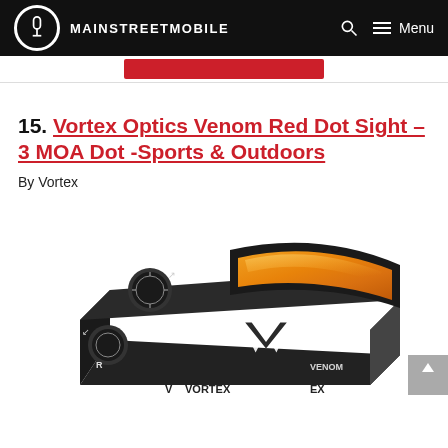MAINSTREETMOBILE — Menu
[Figure (other): Red button/banner strip (partial, cropped at top)]
15. Vortex Optics Venom Red Dot Sight – 3 MOA Dot -Sports & Outdoors
By Vortex
[Figure (photo): Product photo of a Vortex Optics Venom Red Dot Sight, black compact reflex sight with amber/orange lens and Vortex logo on side, shown at an angle against white background.]